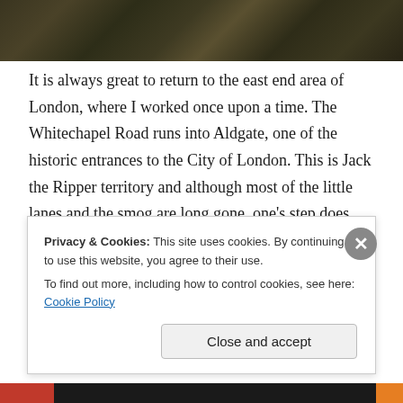[Figure (photo): Dark textured photo strip at top of page, showing dark mossy or rocky surface]
It is always great to return to the east end area of London, where I worked once upon a time. The Whitechapel Road runs into Aldgate, one of the historic entrances to the City of London. This is Jack the Ripper territory and although most of the little lanes and the smog are long gone, one’s step does quicken when walking through this area after dark! On the night of my arrival, I made my way from the underground station to the apartment of my friend, taking a shortcut through a
Privacy & Cookies: This site uses cookies. By continuing to use this website, you agree to their use.
To find out more, including how to control cookies, see here: Cookie Policy
Close and accept